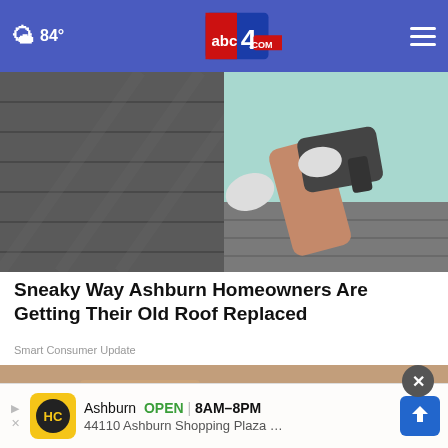abc4.com — 84° weather, navigation header
[Figure (photo): Split composite image: left side shows dark grey roofing shingles from above, right side shows a roofer's hands holding a nail gun against a light blue background with roofing shingles at the bottom]
Sneaky Way Ashburn Homeowners Are Getting Their Old Roof Replaced
Smart Consumer Update
[Figure (photo): Partial second article image showing a close-up of what appears to be hands or earth-toned material]
Ashburn  OPEN | 8AM–8PM
44110 Ashburn Shopping Plaza …